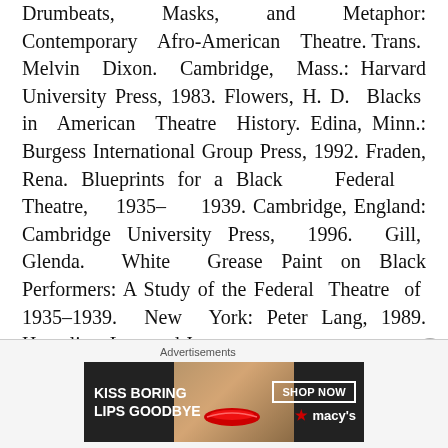Drumbeats, Masks, and Metaphor: Contemporary Afro-American Theatre. Trans. Melvin Dixon. Cambridge, Mass.: Harvard University Press, 1983. Flowers, H. D. Blacks in American Theatre History. Edina, Minn.: Burgess International Group Press, 1992. Fraden, Rena. Blueprints for a Black Federal Theatre, 1935– 1939. Cambridge, England: Cambridge University Press, 1996. Gill, Glenda. White Grease Paint on Black Performers: A Study of the Federal Theatre of 1935–1939. New York: Peter Lang, 1989. Hamalian, Leo, and James
[Figure (other): Advertisement banner for Macy's lipstick: 'KISS BORING LIPS GOODBYE' with a woman's face and red lips, SHOP NOW button and Macy's logo]